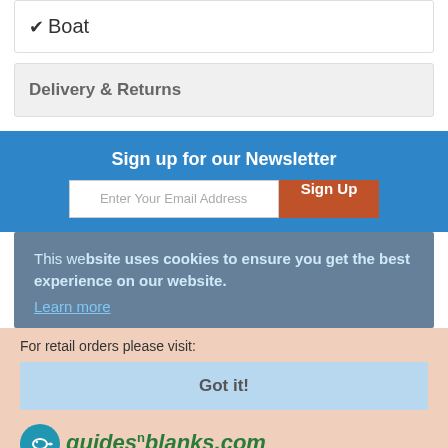✓ Boat
Delivery & Returns
Sign up for our Newsletter
Enter Your Email Address | Sign Up
This website uses cookies to ensure you get the best experience on our website.
Learn more
For retail orders please visit:
Got it!
[Figure (logo): guidesnblanks.com logo with teal fish icon circle]
Brickyard Lane Industrial Estate, Studley, Warwickshire, B80 7EE